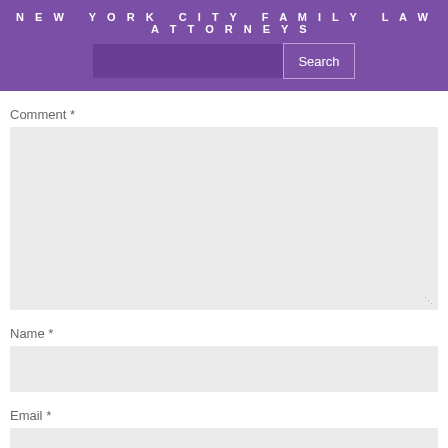NEW YORK CITY FAMILY LAW ATTORNEYS
Comment *
[Figure (screenshot): Comment text area input field, large empty gray box with resize handle]
Name *
[Figure (screenshot): Name text input field, empty gray box]
Email *
[Figure (screenshot): Email text input field, empty gray box]